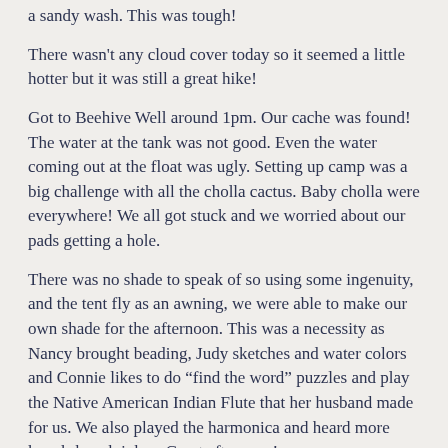a sandy wash.  This was tough!
There wasn't any cloud cover today so it seemed a little hotter but it was still a great hike!
Got to Beehive Well around 1pm.  Our cache was found!  The water at the tank was not good.  Even the water coming out at the float was ugly.  Setting up camp was a big challenge with all the cholla cactus.  Baby cholla were everywhere!  We all got stuck and we worried about our pads getting a hole.
There was no shade to speak of so using some ingenuity, and the tent fly as an awning, we were able to make our own shade for the afternoon. This was a necessity as Nancy brought beading, Judy sketches and water colors and Connie likes to do “find the word” puzzles and play the Native American Indian Flute that her husband made for us.  We also played the harmonica and heard more knock-knock jokes.  Great afternoon!
March 10th, Beehive Well to Freeman Rd., 37/68 degrees, 8 miles
Easy hiking, just gradual ups & downs!  Snake across our trail but must have been too interested in sunning himself.